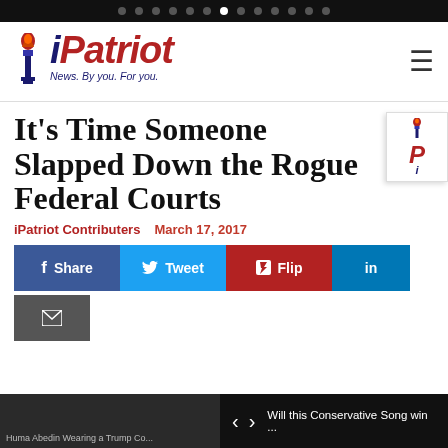iPatriot — News. By you. For you.
It's Time Someone Slapped Down the Rogue Federal Courts
iPatriot Contributers   March 17, 2017
[Figure (screenshot): Social share buttons: Share (Facebook), Tweet (Twitter), Flip (Flipboard), LinkedIn, Email]
[Figure (photo): Bottom thumbnail strip showing article teaser 'Huma Abedin Wearing a Trump Co...' with navigation arrows and caption 'Will this Conservative Song win ...']